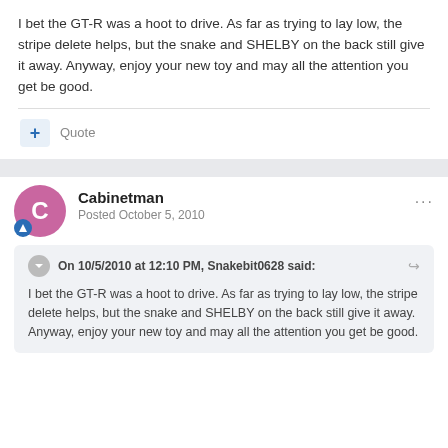I bet the GT-R was a hoot to drive. As far as trying to lay low, the stripe delete helps, but the snake and SHELBY on the back still give it away. Anyway, enjoy your new toy and may all the attention you get be good.
Quote
Cabinetman
Posted October 5, 2010
On 10/5/2010 at 12:10 PM, Snakebit0628 said:
I bet the GT-R was a hoot to drive. As far as trying to lay low, the stripe delete helps, but the snake and SHELBY on the back still give it away. Anyway, enjoy your new toy and may all the attention you get be good.